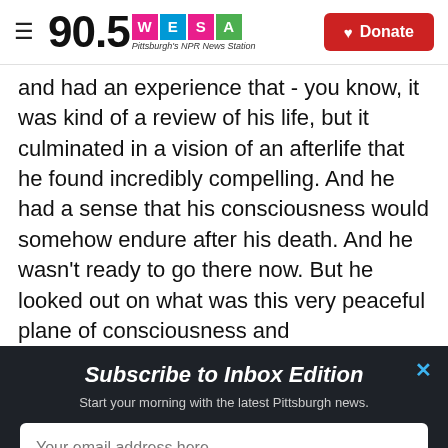90.5 WESA Pittsburgh's NPR News Station | Donate
and had an experience that - you know, it was kind of a review of his life, but it culminated in a vision of an afterlife that he found incredibly compelling. And he had a sense that his consciousness would somehow endure after his death. And he wasn't ready to go there now. But he looked out on what was this very peaceful plane of consciousness and
Subscribe to Inbox Edition
Start your morning with the latest Pittsburgh news.
Your email address here...
Subscribe